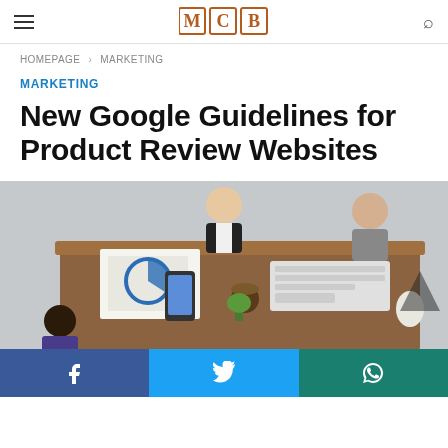MCB (logo) — navigation header with hamburger menu and search icon
HOMEPAGE › MARKETING
MARKETING
New Google Guidelines for Product Review Websites
[Figure (photo): Overhead view of three people in business attire working around a wooden desk with papers, charts, a keyboard, smartphone, coffee cup, and plant]
Social share buttons: Facebook, Twitter, WhatsApp